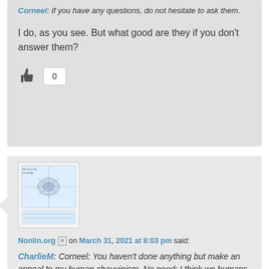Corneel: If you have any questions, do not hesitate to ask them.
I do, as you see. But what good are they if you don't answer them?
[Figure (illustration): Thumbs up like icon with count 0]
[Figure (photo): Avatar image showing a diagram/map]
Nonlin.org on March 31, 2021 at 8:03 pm said:
CharlieM: Corneel: You haven't done anything but make an appeal to my human chauvinism. No need; I think we humans are hot stuff too! But this is a subjective judgement. It's MY judgement. I will not